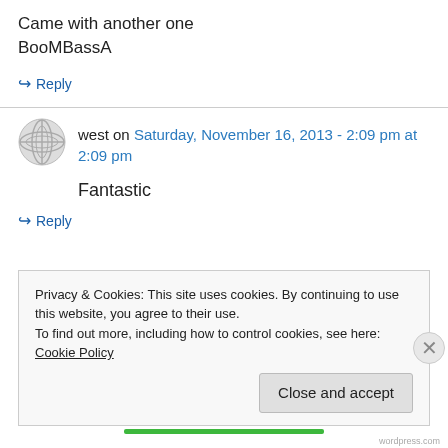Came with another one
BooMBassA
↪ Reply
west on Saturday, November 16, 2013 - 2:09 pm at 2:09 pm
Fantastic
↪ Reply
Privacy & Cookies: This site uses cookies. By continuing to use this website, you agree to their use.
To find out more, including how to control cookies, see here: Cookie Policy
Close and accept